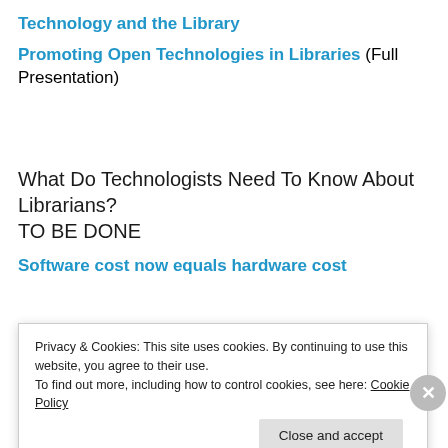Technology and the Library
Promoting Open Technologies in Libraries (Full Presentation)
What Do Technologists Need To Know About Librarians? TO BE DONE
Software cost now equals hardware cost
Privacy & Cookies: This site uses cookies. By continuing to use this website, you agree to their use.
To find out more, including how to control cookies, see here: Cookie Policy
Close and accept